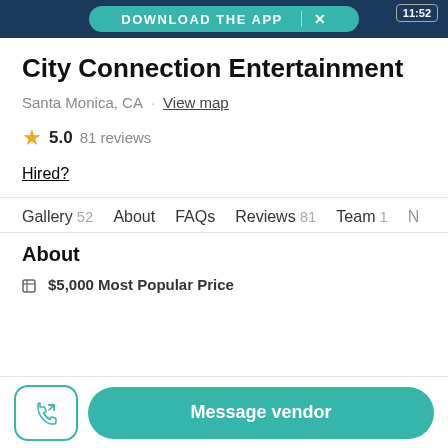DOWNLOAD THE APP
City Connection Entertainment
Santa Monica, CA · View map
★ 5.0  81 reviews
Hired?
Gallery 52   About   FAQs   Reviews 81   Team 1   N
About
$5,000 Most Popular Price
Message vendor